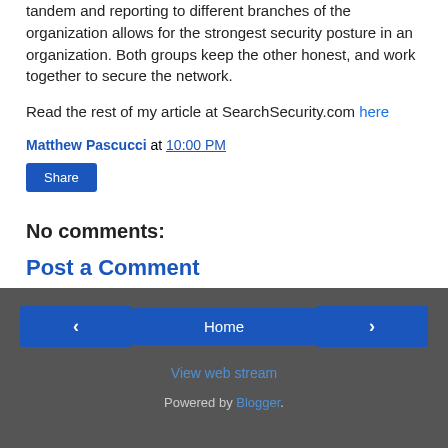tandem and reporting to different branches of the organization allows for the strongest security posture in an organization. Both groups keep the other honest, and work together to secure the network.
Read the rest of my article at SearchSecurity.com here
Matthew Pascucci at 10:00 PM
Share
No comments:
Post a Comment
◁  Home  ▷  View web stream  Powered by Blogger.